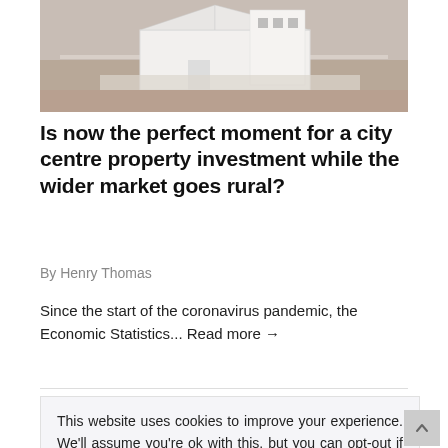[Figure (photo): Photo of a white architectural house model on a wooden surface with blueprints]
Is now the perfect moment for a city centre property investment while the wider market goes rural?
By Henry Thomas
Since the start of the coronavirus pandemic, the Economic Statistics... Read more →
This website uses cookies to improve your experience. We'll assume you're ok with this, but you can opt-out if you wish. Read More